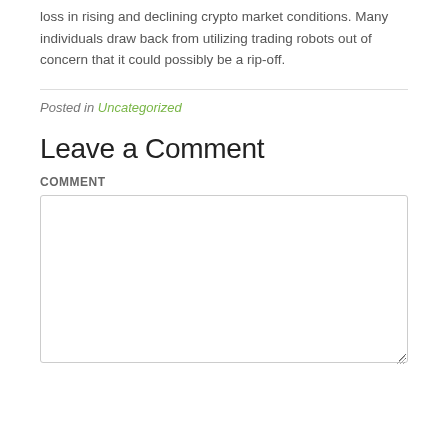loss in rising and declining crypto market conditions. Many individuals draw back from utilizing trading robots out of concern that it could possibly be a rip-off.
Posted in Uncategorized
Leave a Comment
Comment